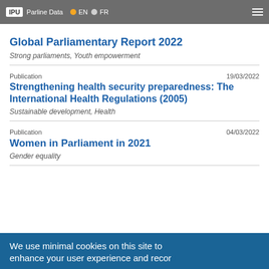IPU  Parline Data  EN  FR
Global Parliamentary Report 2022
Strong parliaments, Youth empowerment
Publication  19/03/2022
Strengthening health security preparedness: The International Health Regulations (2005)
Sustainable development, Health
Publication  04/03/2022
Women in Parliament in 2021
Gender equality
We use minimal cookies on this site to enhance your user experience and record